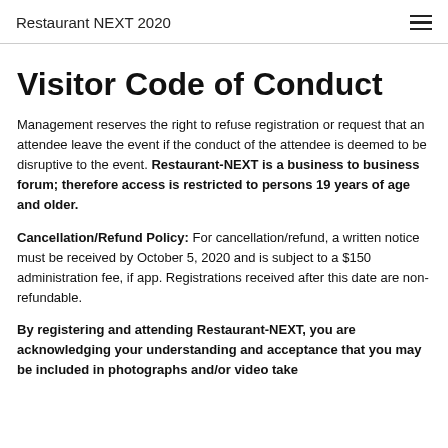Restaurant NEXT 2020
Visitor Code of Conduct
Management reserves the right to refuse registration or request that an attendee leave the event if the conduct of the attendee is deemed to be disruptive to the event. Restaurant-NEXT is a business to business forum; therefore access is restricted to persons 19 years of age and older.
Cancellation/Refund Policy: For cancellation/refund, a written notice must be received by October 5, 2020 and is subject to a $150 administration fee, if app. Registrations received after this date are non-refundable.
By registering and attending Restaurant-NEXT, you are acknowledging your understanding and acceptance that you may be included in photographs and/or video take